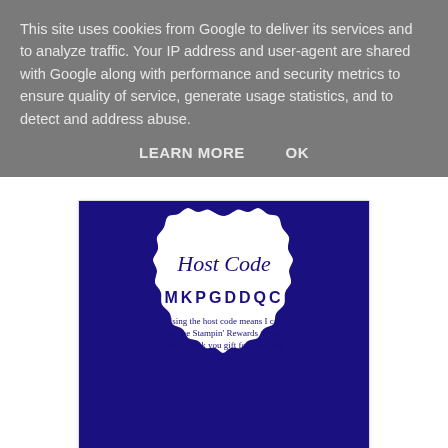This site uses cookies from Google to deliver its services and to analyze traffic. Your IP address and user-agent are shared with Google along with performance and security metrics to ensure quality of service, generate usage statistics, and to detect and address abuse.
LEARN MORE   OK
[Figure (illustration): A decorative badge on a dark navy/purple background with a scalloped white border shape. Inside the badge: 'Host Code' in italic serif font, 'MKPGDDQC' in spaced bold uppercase letters, descriptive text about Stampin' Rewards, and 'Thank you Gez xxx' at the bottom.]